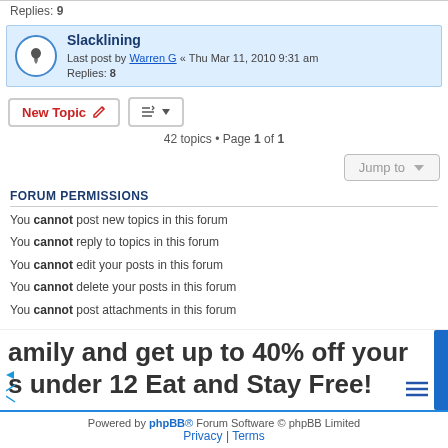Replies: 9
Slacklining
Last post by Warren G « Thu Mar 11, 2010 9:31 am
Replies: 8
New Topic
42 topics • Page 1 of 1
Jump to
FORUM PERMISSIONS
You cannot post new topics in this forum
You cannot reply to topics in this forum
You cannot edit your posts in this forum
You cannot delete your posts in this forum
You cannot post attachments in this forum
[Figure (infographic): Advertisement banner: 'family and get up to 40% off your s under 12 Eat and Stay Free!']
Powered by phpBB® Forum Software © phpBB Limited
Privacy | Terms